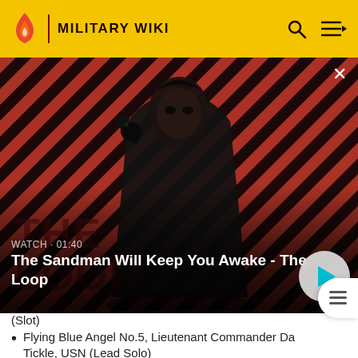MILITARY WIKI
[Figure (screenshot): Promotional video thumbnail showing a dark-clad figure with a raven on shoulder against red diagonal striped background. Text overlay: WATCH · 01:40 / The Sandman Will Keep You Awake - The Loop]
(Slot)
Flying Blue Angel No.5, Lieutenant Commander Da... Tickle, USN (Lead Solo)
Flying Blue Angel No.6, Lieutenant Mark Tedrow, USN (Opposing Solo)
Flying Blue Angel No.7, Lieutenant and Dave Cha... (partial, cut off)